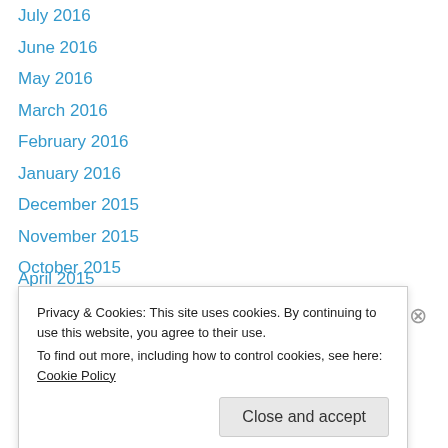July 2016
June 2016
May 2016
March 2016
February 2016
January 2016
December 2015
November 2015
October 2015
September 2015
August 2015
July 2015
May 2015
April 2015
Privacy & Cookies: This site uses cookies. By continuing to use this website, you agree to their use.
To find out more, including how to control cookies, see here: Cookie Policy
Close and accept